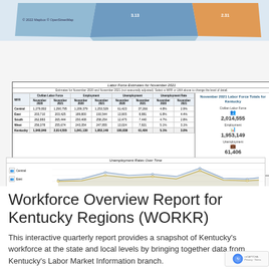[Figure (map): Map of Kentucky regions colored by WFR areas, with numeric labels visible (3.13, 2.31 etc.)]
| WFR | Civilian Labor Force Nov 2020 | Civilian Labor Force Nov 2021 | Employment Nov 2020 | Employment Nov 2021 | Unemployment Nov 2020 | Unemployment Nov 2021 | Unemployment Rate Nov 2020 | Unemployment Rate Nov 2021 |
| --- | --- | --- | --- | --- | --- | --- | --- | --- |
| Central | 1,279,802 | 1,290,795 | 1,209,379 | 1,253,529 | 61,423 | 37,266 | 4.8% | 2.9% |
| East | 203,710 | 203,425 | 189,800 | 193,544 | 13,905 | 8,881 | 6.8% | 4.4% |
| South | 262,883 | 265,444 | 250,408 | 258,254 | 12,475 | 7,440 | 4.7% | 2.8% |
| West | 256,378 | 255,674 | 243,354 | 247,855 | 13,024 | 7,821 | 5.1% | 3.1% |
| Kentucky | 1,940,946 | 2,014,555 | 1,841,130 | 1,953,149 | 100,838 | 61,406 | 5.1% | 3.0% |
[Figure (line-chart): Line chart showing unemployment rates over time for Central and East Kentucky regions]
Workforce Overview Report for Kentucky Regions (WORKR)
This interactive quarterly report provides a snapshot of Kentucky's workforce at the state and local levels by bringing together data from Kentucky's Labor Market Information branch.